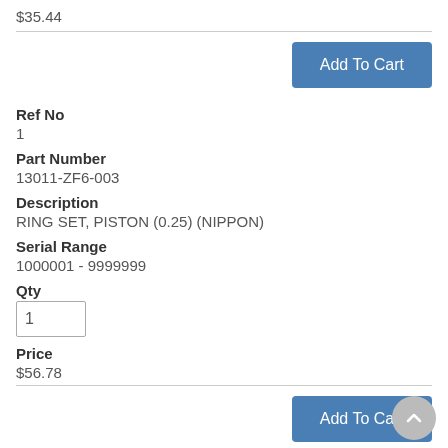$35.44
Add To Cart
Ref No
1
Part Number
13011-ZF6-003
Description
RING SET, PISTON (0.25) (NIPPON)
Serial Range
1000001 - 9999999
Qty
1
Price
$56.78
Add To Cart
Ref No
1